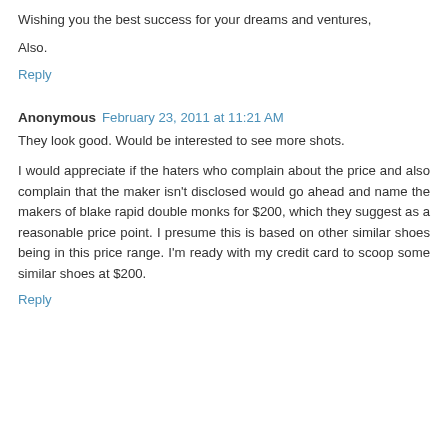Wishing you the best success for your dreams and ventures,
Also.
Reply
Anonymous  February 23, 2011 at 11:21 AM
They look good. Would be interested to see more shots.
I would appreciate if the haters who complain about the price and also complain that the maker isn't disclosed would go ahead and name the makers of blake rapid double monks for $200, which they suggest as a reasonable price point. I presume this is based on other similar shoes being in this price range. I'm ready with my credit card to scoop some similar shoes at $200.
Reply